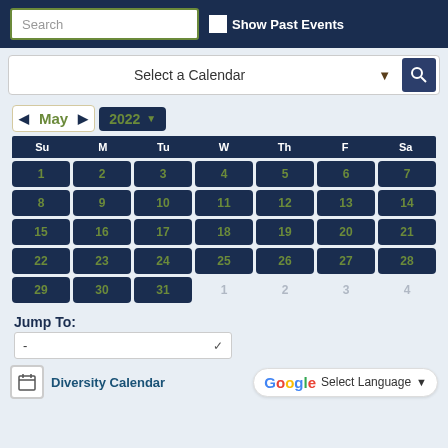Search
Show Past Events
Select a Calendar
[Figure (screenshot): May 2022 calendar widget showing dates 1-31 in dark navy blue cells with green numbers, and inactive dates 1-4 in light gray]
Jump To:
-
Diversity Calendar
Select Language